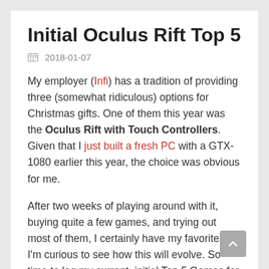Initial Oculus Rift Top 5
2018-01-07
My employer (Infi) has a tradition of providing three (somewhat ridiculous) options for Christmas gifts. One of them this year was the Oculus Rift with Touch Controllers. Given that I just built a fresh PC with a GTX-1080 earlier this year, the choice was obvious for me.
After two weeks of playing around with it, buying quite a few games, and trying out most of them, I certainly have my favorites. I'm curious to see how this will evolve. So time to log my current, initial Top 5 Games for Oculus Rift.